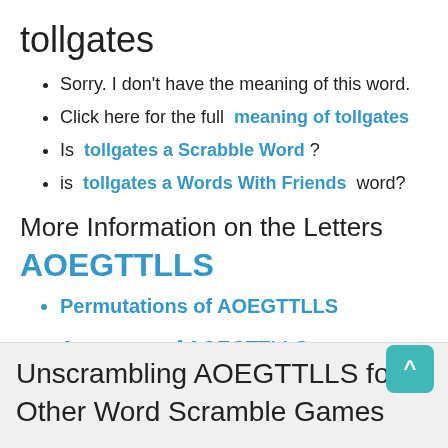tollgates
Sorry. I don't have the meaning of this word.
Click here for the full  meaning of tollgates
Is  tollgates a Scrabble Word  ?
is  tollgates a Words With Friends  word?
More Information on the Letters
AOEGTTLLS
Permutations of AOEGTTLLS
Anagrams of AOEGTTLLS
Words With Letters
Unscrambling AOEGTTLLS for Other Word Scramble Games